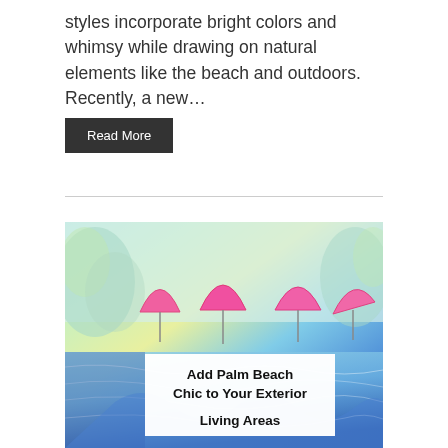styles incorporate bright colors and whimsy while drawing on natural elements like the beach and outdoors. Recently, a new…
Read More
[Figure (photo): Colorful outdoor pool scene with pink umbrellas, tropical painting style, featuring an overlaid white text box with article title 'Add Palm Beach Chic to Your Exterior Living Areas']
Add Palm Beach Chic to Your Exterior Living Areas